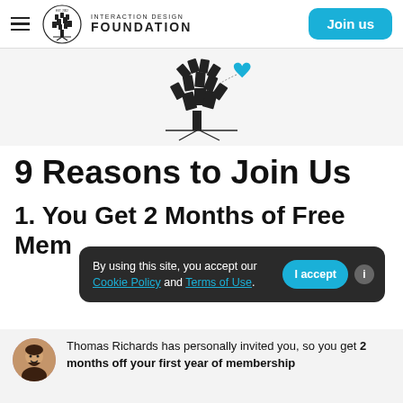Interaction Design Foundation — Join us
[Figure (logo): Interaction Design Foundation logo — tree with books, circular seal, with a blue heart floating above]
9 Reasons to Join Us
1. You Get 2 Months of Free Membership
By using this site, you accept our Cookie Policy and Terms of Use.
Thomas Richards has personally invited you, so you get 2 months off your first year of membership